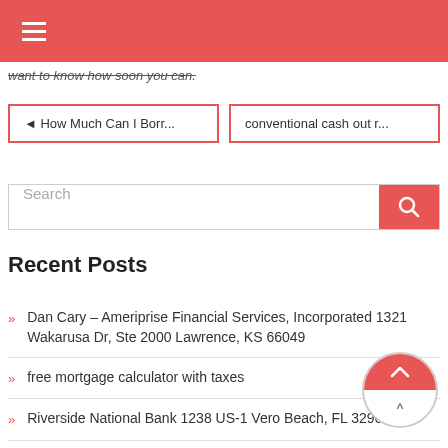≡
want to know how soon you can.
◄ How Much Can I Borr...
conventional cash out r...
Search
Recent Posts
Dan Cary – Ameriprise Financial Services, Incorporated 1321 Wakarusa Dr, Ste 2000 Lawrence, KS 66049
free mortgage calculator with taxes
Riverside National Bank 1238 US-1 Vero Beach, FL 32960
Home Equity Loans Vs Line Of Credit